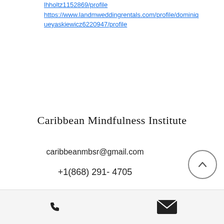lhholtz1152869/profile https://www.landmweddingrentals.com/profile/dominiqueyaskiewicz6220947/profile
Caribbean Mindfulness Institute
caribbeanmbsr@gmail.com
+1(868) 291- 4705
[Figure (other): Scroll-to-top button with upward chevron arrow inside a circle]
Phone icon and email/envelope icon in a footer bar